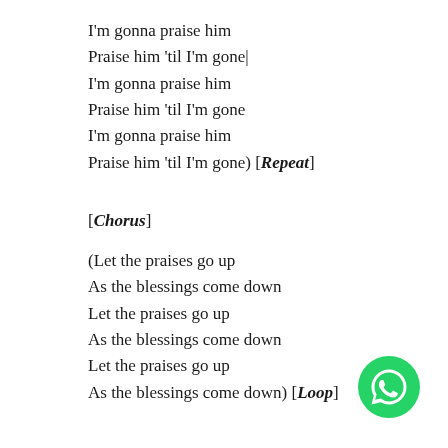I'm gonna praise him
Praise him 'til I'm gone|
I'm gonna praise him
Praise him 'til I'm gone
I'm gonna praise him
Praise him 'til I'm gone) [Repeat]
[Chorus]
(Let the praises go up
As the blessings come down
Let the praises go up
As the blessings come down
Let the praises go up
As the blessings come down) [Loop]
[Figure (logo): WhatsApp green circular logo icon]